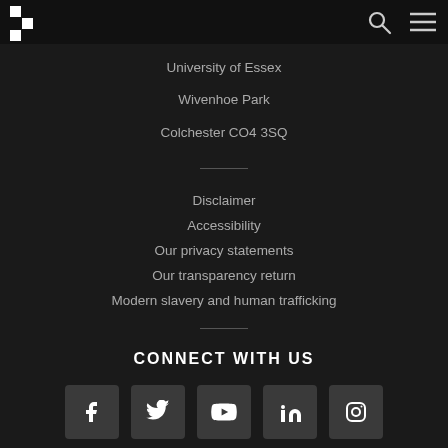University of Essex navigation bar with logo, search, and menu icons
University of Essex
Wivenhoe Park
Colchester CO4 3SQ
Disclaimer
Accessibility
Our privacy statements
Our transparency return
Modern slavery and human trafficking
CONNECT WITH US
[Figure (logo): Social media icons: Facebook, Twitter, YouTube, LinkedIn, Instagram]